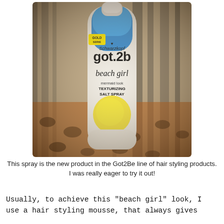[Figure (photo): Photo of a Schwarzkopf got2b 'beach girl' mermaid look texturizing salt spray bottle with a blue cap, sitting on a colorful patterned surface with zebra print and leopard print fabric.]
This spray is the new product in the Got2Be line of hair styling products. I was really eager to try it out!
Usually, to achieve this "beach girl" look, I use a hair styling mousse, that always gives